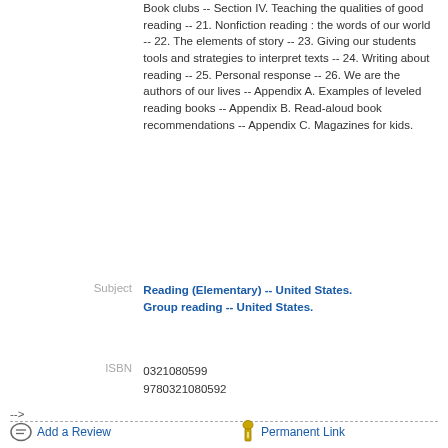Book clubs -- Section IV. Teaching the qualities of good reading -- 21. Nonfiction reading : the words of our world -- 22. The elements of story -- 23. Giving our students tools and strategies to interpret texts -- 24. Writing about reading -- 25. Personal response -- 26. We are the authors of our lives -- Appendix A. Examples of leveled reading books -- Appendix B. Read-aloud book recommendations -- Appendix C. Magazines for kids.
Subject: Reading (Elementary) -- United States. Group reading -- United States.
ISBN: 0321080599 9780321080592
-->
Add a Review   Permanent Link